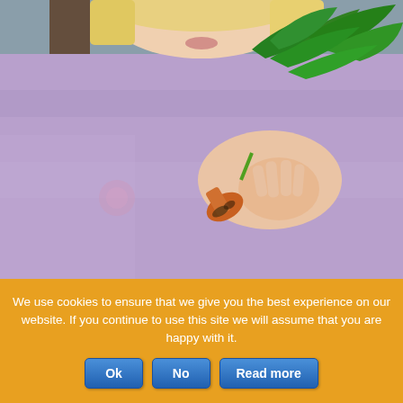[Figure (photo): A young child with blonde hair wearing a purple shirt holding up a small carrot with green leafy tops, with a garden background featuring rocks and plants out of focus.]
We use cookies to ensure that we give you the best experience on our website. If you continue to use this site we will assume that you are happy with it.